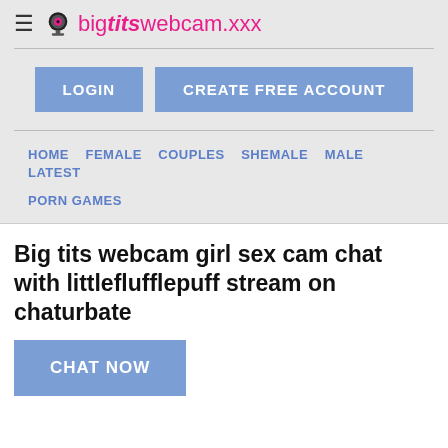big tits webcam.xxx
LOGIN   CREATE FREE ACCOUNT
HOME   FEMALE   COUPLES   SHEMALE   MALE   LATEST   PORN GAMES
Big tits webcam girl sex cam chat with littleflufflepuff stream on chaturbate
CHAT NOW